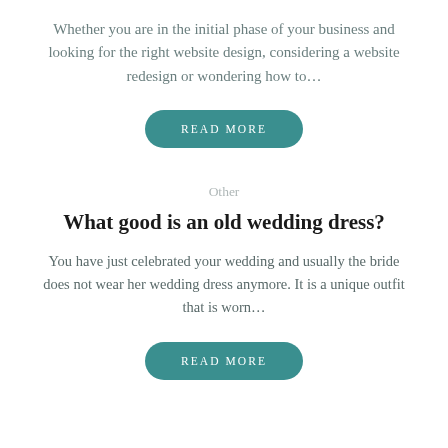Whether you are in the initial phase of your business and looking for the right website design, considering a website redesign or wondering how to…
[Figure (other): A teal rounded button with the text READ MORE in white uppercase letters]
Other
What good is an old wedding dress?
You have just celebrated your wedding and usually the bride does not wear her wedding dress anymore. It is a unique outfit that is worn…
[Figure (other): A teal rounded button with the text READ MORE in white uppercase letters]